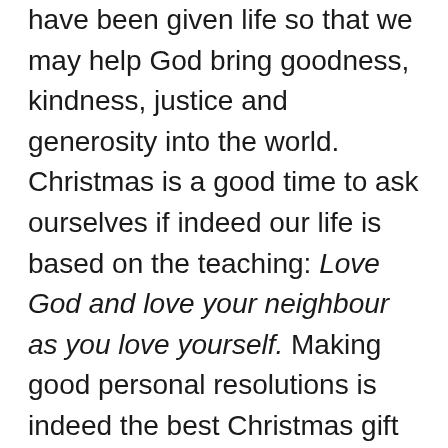have been given life so that we may help God bring goodness, kindness, justice and generosity into the world.  Christmas is a good time to ask ourselves if indeed our life is based on the teaching: Love God and love your neighbour as you love yourself. Making good personal resolutions is indeed the best Christmas gift that you can give yourself.
At Christmas, many Vincentians are involved in bringing Christmas boxes to the needy. May this be done with great joy and understanding.  The material gift is